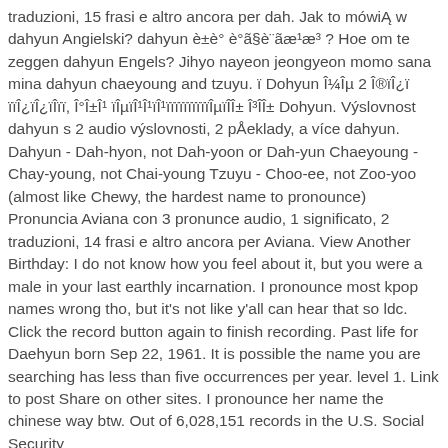traduzioni, 15 frasi e altro ancora per dah. Jak to mówiÄ w dahyun Angielski? dahyun è±è° è°ã§è¨ãæ¹æ³ ? Hoe om te zeggen dahyun Engels? Jihyo nayeon jeongyeon momo sana mina dahyun chaeyoung and tzuyu. ï Dohyun Î¼Îµ 2 Î®ïÎ¿ï ïïÎ¿ïÎ¿ïÎïï, Î°Î±Î¹ ïÎµïÎ¹Î¹ïÎ¹ïïïïïïïïïïÎµïÎÎ± Î³ÎÎ± Dohyun. Výslovnost dahyun s 2 audio výslovnosti, 2 překlady, a více dahyun. Dahyun - Dah-hyon, not Dah-yoon or Dah-yun Chaeyoung - Chay-young, not Chai-young Tzuyu - Choo-ee, not Zoo-yoo (almost like Chewy, the hardest name to pronounce) Pronuncia Aviana con 3 pronunce audio, 1 significato, 2 traduzioni, 14 frasi e altro ancora per Aviana. View Another Birthday: I do not know how you feel about it, but you were a male in your last earthly incarnation. I pronounce most kpop names wrong tho, but it's not like y'all can hear that so ldc. Click the record button again to finish recording. Past life for Daehyun born Sep 22, 1961. It is possible the name you are searching has less than five occurrences per year. level 1. Link to post Share on other sites. I pronounce her name the chinese way btw. Out of 6,028,151 records in the U.S. Social Security